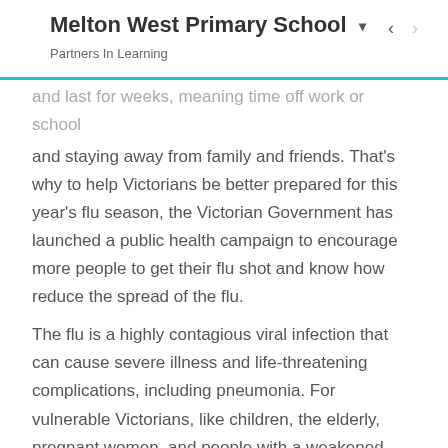Melton West Primary School — Partners In Learning
and last for weeks, meaning time off work or school and staying away from family and friends. That's why to help Victorians be better prepared for this year's flu season, the Victorian Government has launched a public health campaign to encourage more people to get their flu shot and know how reduce the spread of the flu.
The flu is a highly contagious viral infection that can cause severe illness and life-threatening complications, including pneumonia. For vulnerable Victorians, like children, the elderly, pregnant women, and people with a weakened immune system, the flu can have serious and devastating outcomes.